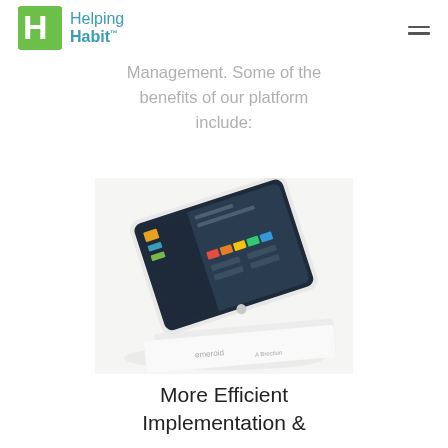Helping Habit
Management. Some of the benefits of our platform include:
[Figure (photo): A white tablet device propped at an angle displaying a colorful dashboard interface, resting on white printed materials on a light surface.]
More Efficient Implementation &